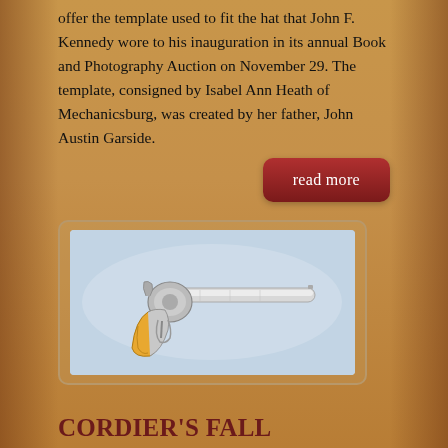offer the template used to fit the hat that John F. Kennedy wore to his inauguration in its annual Book and Photography Auction on November 29. The template, consigned by Isabel Ann Heath of Mechanicsburg, was created by her father, John Austin Garside.
read more
[Figure (photo): Photo of an antique revolver with yellow/ivory grips, nickel or silver finish, displayed on a light blue-grey background.]
CORDIER'S FALL FIREARMS AUCTION FEATURES ANTIQUE AND COLLECTIBLE GUNS
November 3, 2015
The Fall Firearms & Militaria Auction at Cordier Auctions slated for December 6 includes the